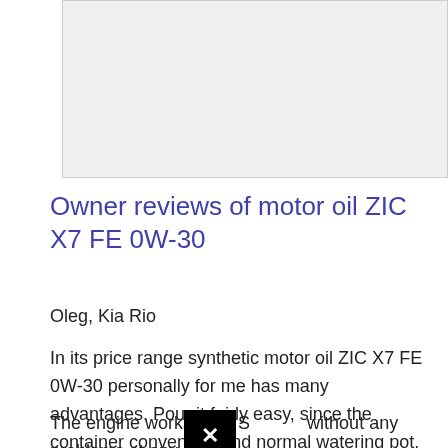[Figure (other): Gray placeholder image box at top of page]
Owner reviews of motor oil ZIC X7 FE 0W-30
Oleg, Kia Rio
In its price range synthetic motor oil ZIC X7 FE 0W-30 personally for me has many advantages. Pour it fairly easy, since the container convenient and normal watering pot. Of course, not without the fact that something spills, but mostly the Bay is normal.
The engine works well. S without any problems at any time of the ...